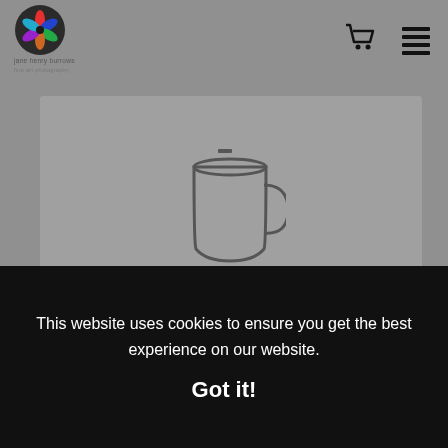Jane Henry Burrows - logo, cart and menu icons
[Figure (illustration): Mug product illustration with label 'Mugs']
2 Size
3 Styles
Oil on linen, original size 60" x 20"
This website uses cookies to ensure you get the best experience on our website.
Got it!